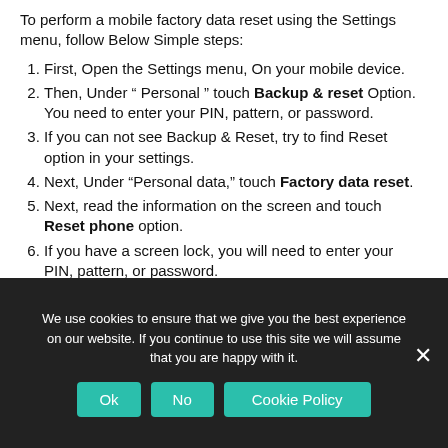To perform a mobile factory data reset using the Settings menu, follow Below Simple steps:
First, Open the Settings menu, On your mobile device.
Then, Under “ Personal ” touch Backup & reset Option. You need to enter your PIN, pattern, or password.
If you can not see Backup & Reset, try to find Reset option in your settings.
Next, Under “Personal data,” touch Factory data reset.
Next, read the information on the screen and touch Reset phone option.
If you have a screen lock, you will need to enter your PIN, pattern, or password.
We use cookies to ensure that we give you the best experience on our website. If you continue to use this site we will assume that you are happy with it.